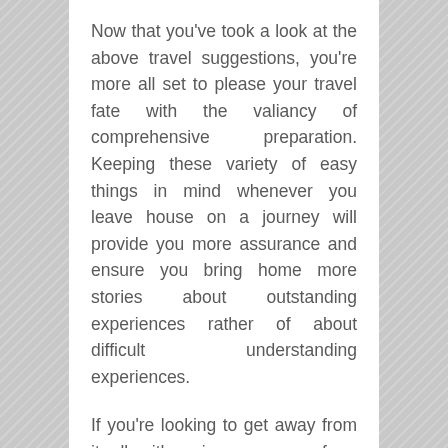Now that you've took a look at the above travel suggestions, you're more all set to please your travel fate with the valiancy of comprehensive preparation. Keeping these variety of easy things in mind whenever you leave house on a journey will provide you more assurance and ensure you bring home more stories about outstanding experiences rather of about difficult understanding experiences.
If you're looking to get away from it all with a journey away from house, do not forget to take a journey wise. An event, error or forgotten product can harm a journey as absolutely as bad weather condition or an undesirable travel buddy. While there are some things you simply can't manage, boost your possibilities of having a wonderful journey…